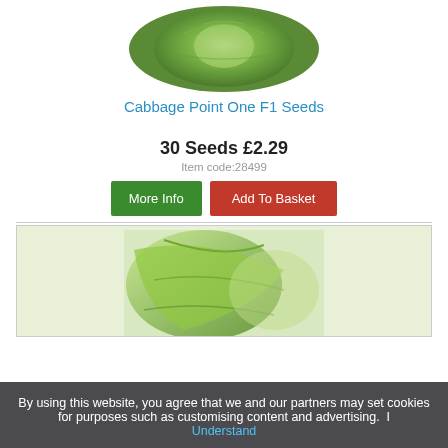[Figure (photo): Close-up photo of a green cabbage head]
Cabbage Point One F1 Seeds
30 Seeds £2.29
Item code:28499
More Info | Add To Basket
[Figure (photo): Close-up photo of green cabbage leaves]
By using this website, you agree that we and our partners may set cookies for purposes such as customising content and advertising. I Understand